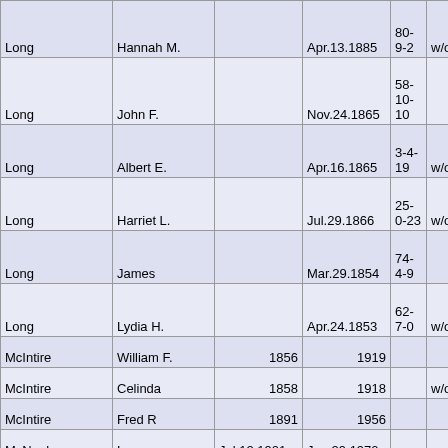| Last Name | First Name | Birth | Death | Col5 | Col6 |
| --- | --- | --- | --- | --- | --- |
| Long | Hannah M. |  | Apr.13.1885 | 80-9-2 | w/o |
| Long | John F. |  | Nov.24.1865 | 58-10-10 |  |
| Long | Albert E. |  | Apr.16.1865 | 3-4-19 | w/o |
| Long | Harriet L. |  | Jul.29.1866 | 25-0-23 | w/o |
| Long | James |  | Mar.29.1854 | 74-4-9 |  |
| Long | Lydia H. |  | Apr.24.1853 | 62-7-0 | w/o |
| McIntire | William F. | 1856 | 1919 |  |  |
| McIntire | Celinda | 1858 | 1918 |  | w/o |
| McIntire | Fred R | 1891 | 1956 |  |  |
| McNeal | Leon | Jul.12.1901 | Jan.29.1970 |  |  |
| McNeal | Nila | Aug.13.1895 | Dec.21.1976 |  | w/o |
| Miller | Elmer | Nov.12.1909 |  |  |  |
| Miller | Myrtle R. | Jun.10.1909 | Jul.9.1994 |  | w/o |
| Miller | Richard A | 1930 |  |  | Mar |